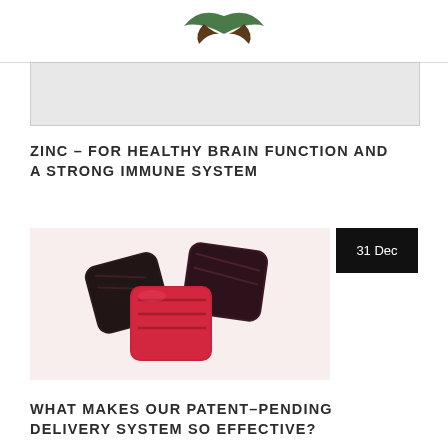Logo / site header
[Figure (other): Advertisement banner placeholder]
ZINC – FOR HEALTHY BRAIN FUNCTION AND A STRONG IMMUNE SYSTEM
[Figure (photo): Three candy/supplement gummies – two dark brown/black and one bright red/pink – on a light pink background. A black date badge reads '31 Dec'.]
WHAT MAKES OUR PATENT-PENDING DELIVERY SYSTEM SO EFFECTIVE?